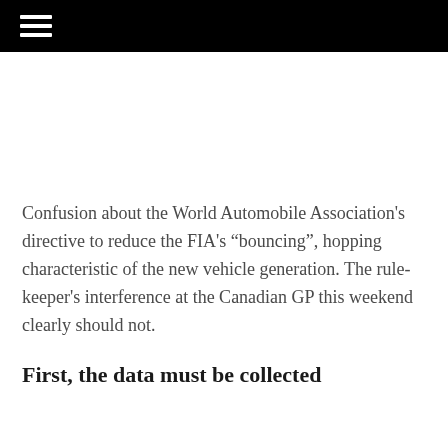Confusion about the World Automobile Association’s directive to reduce the FIA’s “bouncing”, hopping characteristic of the new vehicle generation. The rule-keeper’s interference at the Canadian GP this weekend clearly should not.
First, the data must be collected